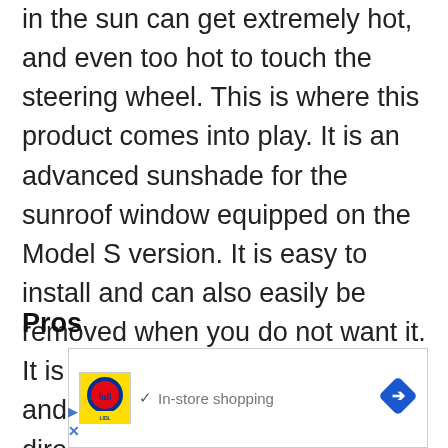in the sun can get extremely hot, and even too hot to touch the steering wheel. This is where this product comes into play. It is an advanced sunshade for the sunroof window equipped on the Model S version. It is easy to install and can also easily be removed when you do not want it. It is made of high-quality material and prevents any sunlight from directly entering the car.
Pros
[Figure (other): Advertisement box containing Lidl store logo, checkmark with 'In-store shopping' text, and a blue navigation diamond icon]